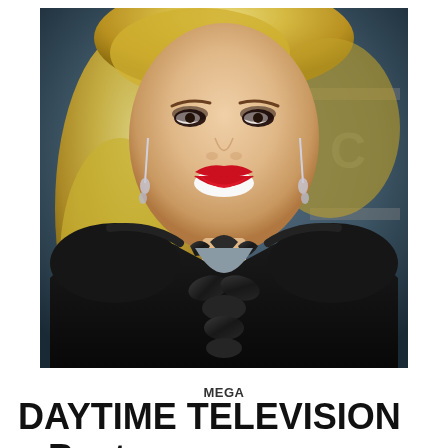[Figure (photo): A woman with long blonde wavy hair, red lipstick, dangling crystal earrings, wearing a black velvet dress with satin ruffles and a cutout neckline, smiling at the camera against a dark grey background.]
MEGA
DAYTIME TELEVISION – Best Hair Styling